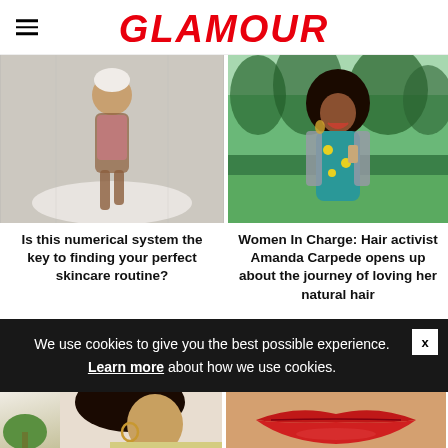GLAMOUR
[Figure (photo): Woman in pink swimsuit with white towel on head, sitting near a bathtub in a bathroom]
Is this numerical system the key to finding your perfect skincare routine?
[Figure (photo): Woman with natural curly hair smiling outdoors, wearing a teal floral dress and grey jacket]
Women In Charge: Hair activist Amanda Carpede opens up about the journey of loving her natural hair
We use cookies to give you the best possible experience. Learn more about how we use cookies.
[Figure (photo): Woman with dark hair and hoop earring, partial view, light background]
[Figure (photo): Close-up of lips with red lipstick]